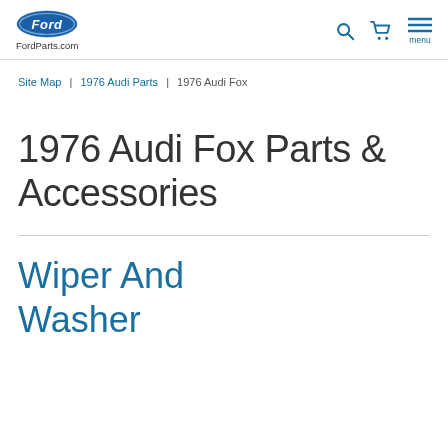FordParts.com
Site Map | 1976 Audi Parts | 1976 Audi Fox
1976 Audi Fox Parts & Accessories
Wiper And Washer